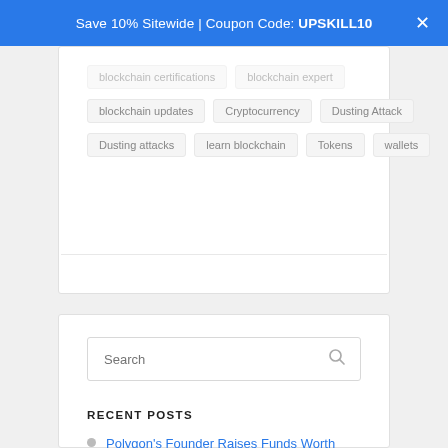Save 10% Sitewide | Coupon Code: UPSKILL10
blockchain certifications
blockchain expert
blockchain updates
Cryptocurrency
Dusting Attack
Dusting attacks
learn blockchain
Tokens
wallets
Search
RECENT POSTS
Polygon's Founder Raises Funds Worth